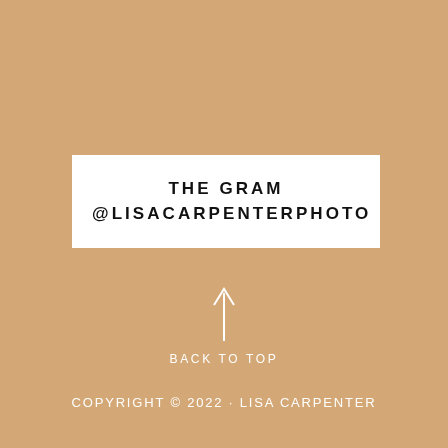THE GRAM
@LISACARPENTERPHOTO
[Figure (illustration): Upward-pointing arrow icon in white]
BACK TO TOP
COPYRIGHT © 2022 · LISA CARPENTER